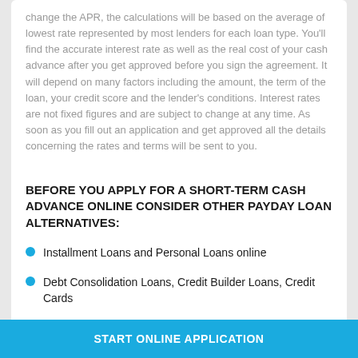change the APR, the calculations will be based on the average of lowest rate represented by most lenders for each loan type. You'll find the accurate interest rate as well as the real cost of your cash advance after you get approved before you sign the agreement. It will depend on many factors including the amount, the term of the loan, your credit score and the lender's conditions. Interest rates are not fixed figures and are subject to change at any time. As soon as you fill out an application and get approved all the details concerning the rates and terms will be sent to you.
[Figure (other): Blue button labeled START ONLINE APPLICATION]
BEFORE YOU APPLY FOR A SHORT-TERM CASH ADVANCE ONLINE CONSIDER OTHER PAYDAY LOAN ALTERNATIVES:
Installment Loans and Personal Loans online
Debt Consolidation Loans, Credit Builder Loans, Credit Cards
[Figure (other): Blue sticky bar labeled START ONLINE APPLICATION]
Social services and local assistance programs